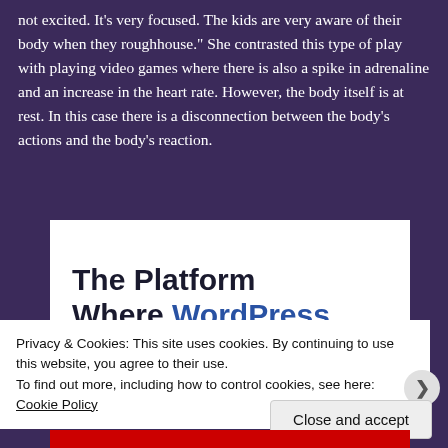not excited. It's very focused. The kids are very aware of their body when they roughhouse." She contrasted this type of play with playing video games where there is also a spike in adrenaline and an increase in the heart rate. However, the body itself is at rest. In this case there is a disconnection between the body's actions and the body's reaction.
[Figure (screenshot): Advertisement for WordPress hosting: 'The Platform Where WordPress Works Best' in large bold text on white background]
Privacy & Cookies: This site uses cookies. By continuing to use this website, you agree to their use.
To find out more, including how to control cookies, see here: Cookie Policy
Close and accept